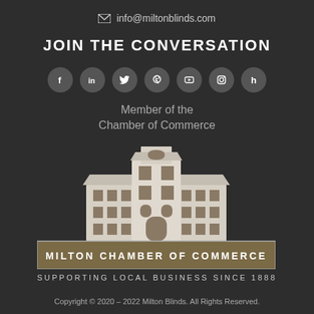info@miltonblinds.com
JOIN THE CONVERSATION
[Figure (infographic): Seven social media icon circles: Facebook, LinkedIn, Twitter, Pinterest, YouTube, Instagram, Houzz]
Member of the Chamber of Commerce
[Figure (illustration): Milton Chamber of Commerce building logo — a multi-story building illustration in beige/cream with brown windows and details, above a brown banner reading MILTON CHAMBER OF COMMERCE and the tagline SUPPORTING LOCAL BUSINESS SINCE 1888]
Copyright © 2020 – 2022 Milton Blinds. All Rights Reserved.